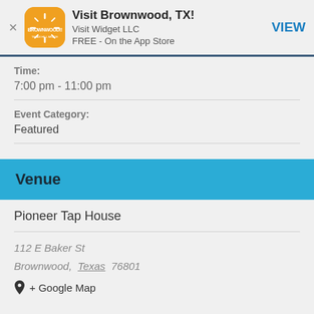[Figure (screenshot): App store banner showing Visit Brownwood TX app with orange icon, Visit Widget LLC developer, FREE on App Store, and VIEW button]
Time:
7:00 pm - 11:00 pm
Event Category:
Featured
Venue
Pioneer Tap House
112 E Baker St
Brownwood, Texas 76801
+ Google Map